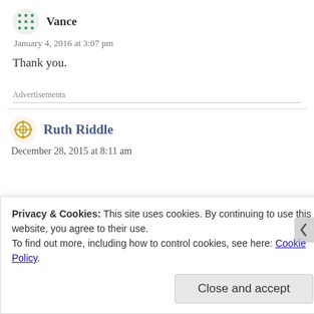Vance
January 4, 2016 at 3:07 pm
Thank you.
Advertisements
Ruth Riddle
December 28, 2015 at 8:11 am
Privacy & Cookies: This site uses cookies. By continuing to use this website, you agree to their use.
To find out more, including how to control cookies, see here: Cookie Policy
Close and accept